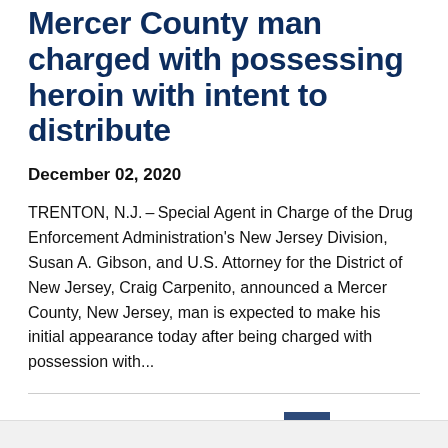Mercer County man charged with possessing heroin with intent to distribute
December 02, 2020
TRENTON, N.J. – Special Agent in Charge of the Drug Enforcement Administration's New Jersey Division, Susan A. Gibson, and U.S. Attorney for the District of New Jersey, Craig Carpenito, announced a Mercer County, New Jersey, man is expected to make his initial appearance today after being charged with possession with...
Showing 1-10 of 225 results